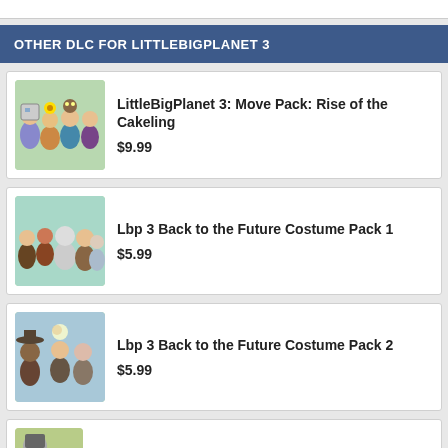OTHER DLC FOR LITTLEBIGPLANET 3
LittleBigPlanet 3: Move Pack: Rise of the Cakeling
$9.99
Lbp 3 Back to the Future Costume Pack 1
$5.99
Lbp 3 Back to the Future Costume Pack 2
$5.99
Lbp 3 Metal Gear Solid V: The Phantom